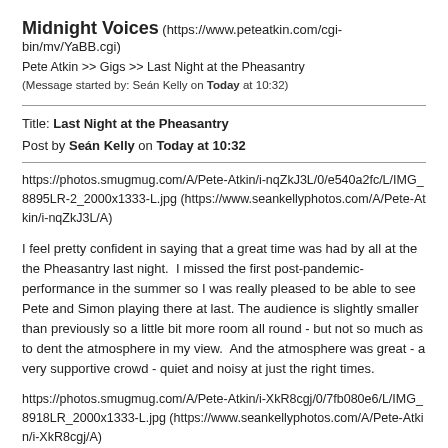Midnight Voices (https://www.peteatkin.com/cgi-bin/mv/YaBB.cgi)
Pete Atkin >> Gigs >> Last Night at the Pheasantry
(Message started by: Seán Kelly on Today at 10:32)
Title: Last Night at the Pheasantry
Post by Seán Kelly on Today at 10:32
https://photos.smugmug.com/A/Pete-Atkin/i-nqZkJ3L/0/e540a2fc/L/IMG_8895LR-2_2000x1333-L.jpg (https://www.seankellyphotos.com/A/Pete-Atkin/i-nqZkJ3L/A)
I feel pretty confident in saying that a great time was had by all at the the Pheasantry last night.  I missed the first post-pandemic-performance in the summer so I was really pleased to be able to see Pete and Simon playing there at last. The audience is slightly smaller than previously so a little bit more room all round - but not so much as to dent the atmosphere in my view.  And the atmosphere was great - a very supportive crowd - quiet and noisy at just the right times.
https://photos.smugmug.com/A/Pete-Atkin/i-XkR8cgj/0/7fb080e6/L/IMG_8918LR_2000x1333-L.jpg (https://www.seankellyphotos.com/A/Pete-Atkin/i-XkR8cgj/A)